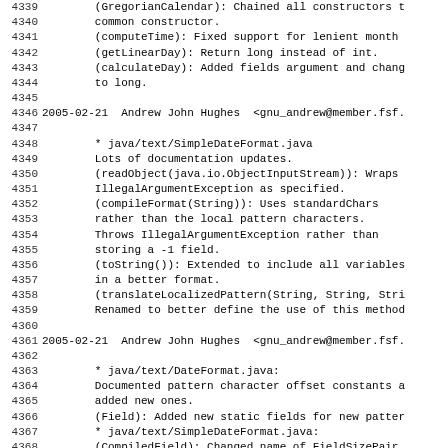Code changelog/diff content showing lines 4339-4370 of a source code changelog file, including entries for GregorianCalendar, computeTime, getLinearDay, calculateDay fixes, and java/text/SimpleDateFormat.java and java/text/DateFormat.java documentation and API changes by Andrew John Hughes dated 2005-02-21.